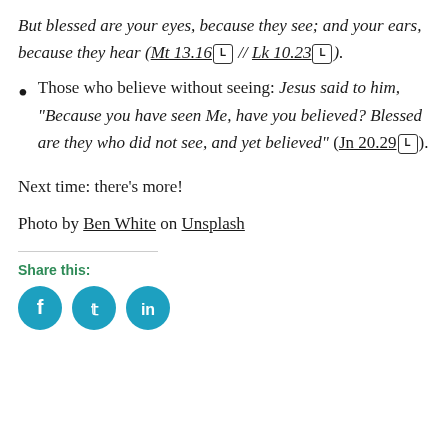But blessed are your eyes, because they see; and your ears, because they hear (Mt 13.16 [L] // Lk 10.23 [L]).
Those who believe without seeing: Jesus said to him, “Because you have seen Me, have you believed? Blessed are they who did not see, and yet believed” (Jn 20.29 [L]).
Next time: there’s more!
Photo by Ben White on Unsplash
Share this: